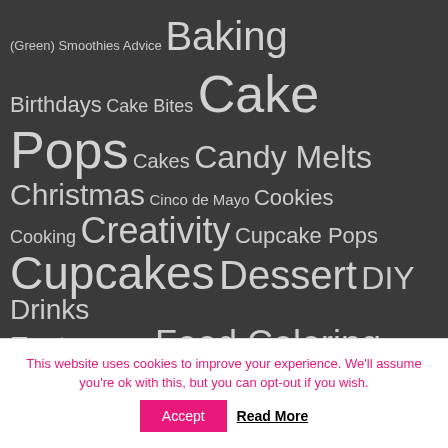[Figure (infographic): Tag cloud on dark background with various baking/cooking category tags in different font sizes. Tags include: (Green) Smoothies, Advice, Baking, Birthdays, Cake Bites, Cake Pops, Cakes, Candy Melts, Christmas, Cinco de Mayo, Cookies, Cooking, Creativity, Cupcake Pops, Cupcakes, Dessert, DIY, Drinks, Easter, Fondant, Food Coloring, Frosting, General, General Holidays, Ice Cream, Look - Alikes, Main Courses, Marshmallows, Mexican, Mother's Day, New Years, Parties, Polymer Clay, Recipes, Storage, Sweet Table/Candy Bar, Tips, Tutorials, Valentine's Day, Vegan]
This website uses cookies to improve your experience. We'll assume you're ok with this, but you can opt-out if you wish.